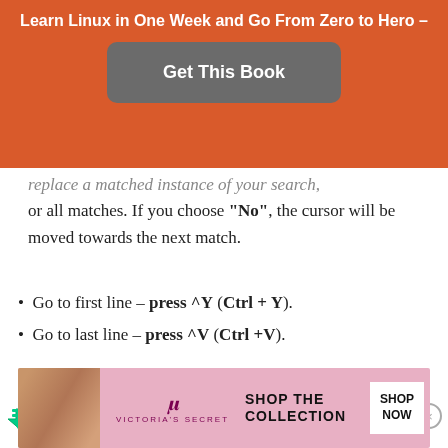Learn Linux in One Week and Go From Zero to Hero –
[Figure (other): Get This Book button on orange banner]
replace a matched instance of your search, or all matches. If you choose "No", the cursor will be moved towards the next match.
Go to first line – press ^Y (Ctrl + Y).
Go to last line – press ^V (Ctrl +V).
Copy/Paste/Cut Text in Nano
Nano's interface is very similar to a GUI text
[Figure (other): Victoria's Secret advertisement banner]